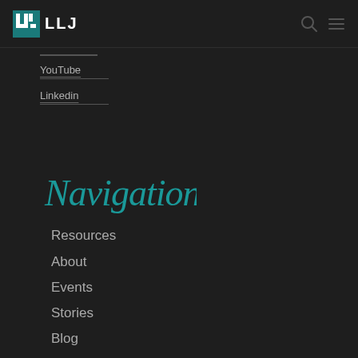[Figure (logo): LLJ logo with teal geometric icon and white LLJ text]
YouTube
Linkedin
Navigation (script/cursive style)
Resources
About
Events
Stories
Blog